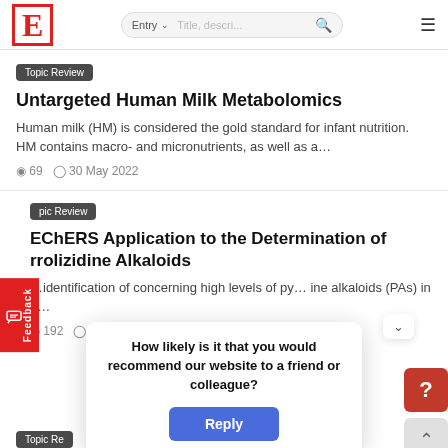E | Entry  Title, descr... [search] [menu]
Topic Review
Untargeted Human Milk Metabolomics
Human milk (HM) is considered the gold standard for infant nutrition. HM contains macro- and micronutrients, as well as a…
69   30 May 2022
Topic Review
QuEChERS Application to the Determination of Pyrrolizidine Alkaloids
…identification of concerning high levels of pyrrolizidine alkaloids (PAs) in a…
192
How likely is it that you would recommend our website to a friend or colleague?
Reply
Topic Re...